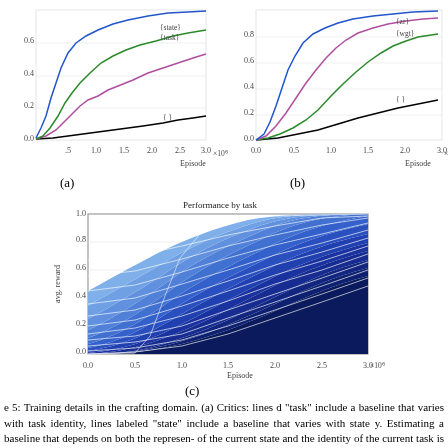[Figure (continuous-plot): Two line charts (a) and (b) showing training curves in crafting domain. Chart (a) shows lines labeled {state}, {task}, {} over episodes up to 3.0×10^6. Chart (b) shows lines labeled {zr}, {wgt}, {} over episodes 0.0 to 3.0×10^6.]
(a)
(b)
[Figure (area-chart): Area chart showing performance by task over episodes 0.0 to 3.0×10^6, with avg. reward from 0.0 to 1.0, filled with gradient blue shading and white lines separating tasks.]
(c)
e 5: Training details in the crafting domain. (a) Critics: lines d “task” include a baseline that varies with task identity, lines labeled “state” include a baseline that varies with state y. Estimating a baseline that depends on both the represen- of the current state and the identity of the current task is than either alone or a constant baseline. (b) Curricula: lines